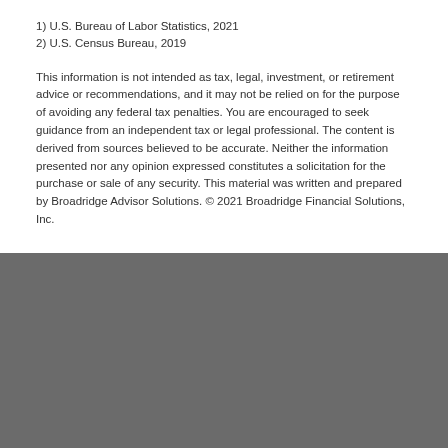1) U.S. Bureau of Labor Statistics, 2021
2) U.S. Census Bureau, 2019
This information is not intended as tax, legal, investment, or retirement advice or recommendations, and it may not be relied on for the purpose of avoiding any federal tax penalties. You are encouraged to seek guidance from an independent tax or legal professional. The content is derived from sources believed to be accurate. Neither the information presented nor any opinion expressed constitutes a solicitation for the purchase or sale of any security. This material was written and prepared by Broadridge Advisor Solutions. © 2021 Broadridge Financial Solutions, Inc.